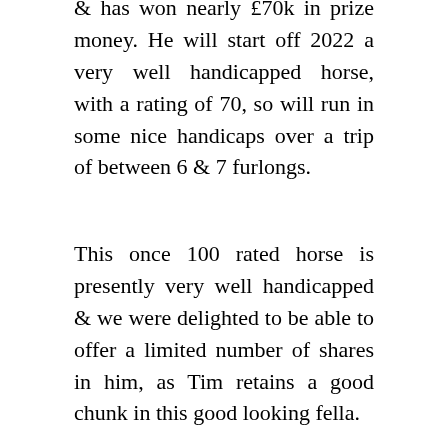& has won nearly £70k in prize money. He will start off 2022 a very well handicapped horse, with a rating of 70, so will run in some nice handicaps over a trip of between 6 & 7 furlongs.
This once 100 rated horse is presently very well handicapped & we were delighted to be able to offer a limited number of shares in him, as Tim retains a good chunk in this good looking fella.